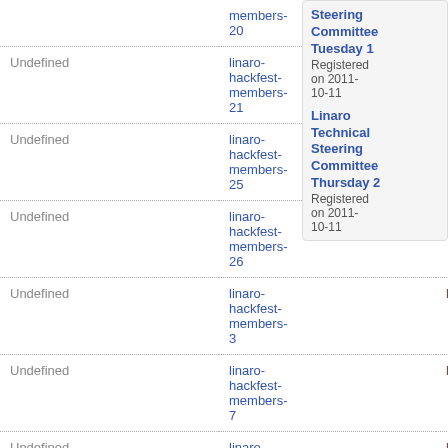|  | Name | Status | Importance |  |
| --- | --- | --- | --- | --- |
|  | linaro-hackfest-members-20 |  |  | Steering Committee Tuesday 1
Registered on 2011-10-11 |
| Undefined | linaro-hackfest-members-21 | New | Unknown |  |
| Undefined | linaro-hackfest-members-25 | New | Unknown | Linaro Technical Steering Committee Thursday 2
Registered on 2011-10-11 |
| Undefined | linaro-hackfest-members-26 | New | Unknown |  |
| Undefined | linaro-hackfest-members-3 | New | Unknown |  |
| Undefined | linaro-hackfest-members-7 | New | Unknown |  |
| Undefined | linaro- | New | Unknown |  |